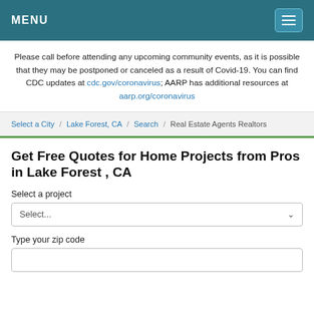MENU
Please call before attending any upcoming community events, as it is possible that they may be postponed or canceled as a result of Covid-19. You can find CDC updates at cdc.gov/coronavirus; AARP has additional resources at aarp.org/coronavirus
Select a City / Lake Forest, CA / Search / Real Estate Agents Realtors
Get Free Quotes for Home Projects from Pros in Lake Forest , CA
Select a project
Select...
Type your zip code